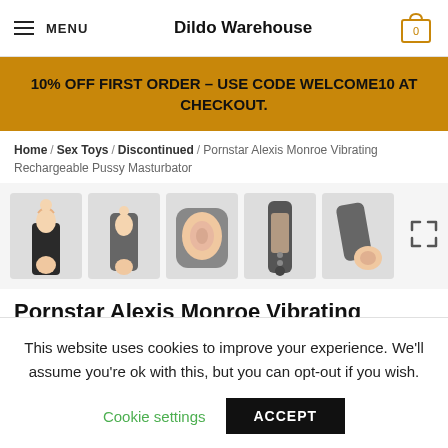MENU  Dildo Warehouse  [cart: 0]
10% OFF FIRST ORDER – USE CODE WELCOME10 AT CHECKOUT.
Home / Sex Toys / Discontinued / Pornstar Alexis Monroe Vibrating Rechargeable Pussy Masturbator
[Figure (photo): Five product thumbnail images of a vibrating masturbator in various angles, shown in a light gray row with an expand icon on the right.]
Pornstar Alexis Monroe Vibrating
This website uses cookies to improve your experience. We'll assume you're ok with this, but you can opt-out if you wish.
Cookie settings   ACCEPT